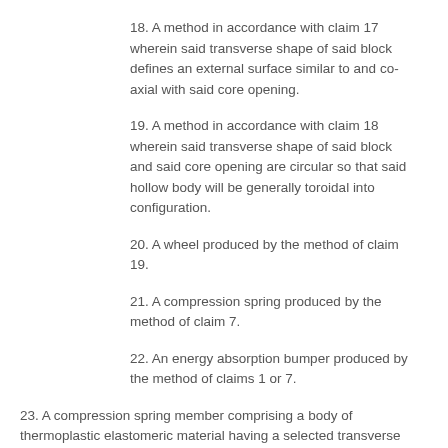18. A method in accordance with claim 17 wherein said transverse shape of said block defines an external surface similar to and co-axial with said core opening.
19. A method in accordance with claim 18 wherein said transverse shape of said block and said core opening are circular so that said hollow body will be generally toroidal into configuration.
20. A wheel produced by the method of claim 19.
21. A compression spring produced by the method of claim 7.
22. An energy absorption bumper produced by the method of claims 1 or 7.
23. A compression spring member comprising a body of thermoplastic elastomeric material having a selected transverse configuration and axial free height and transversely expanded hollow central core opening extending substantially therethrough, the material and said opening being uniform in cross-sections perpendicular to a central axis, said material being such that upon